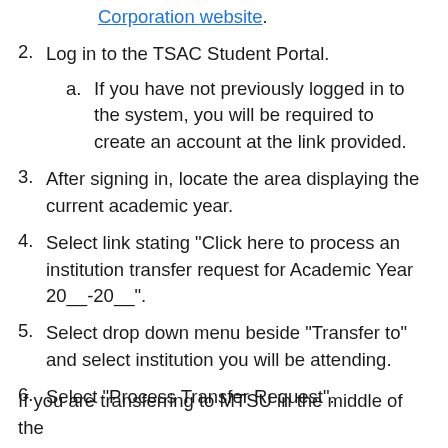Corporation website.
2. Log in to the TSAC Student Portal.
  a. If you have not previously logged in to the system, you will be required to create an account at the link provided.
3. After signing in, locate the area displaying the current academic year.
4. Select link stating "Click here to process an institution transfer request for Academic Year 20__-20__".
5. Select drop down menu beside "Transfer to" and select institution you will be attending.
6. Select "Process Transfer Request".
If you are transferring to MTSU in the middle of the